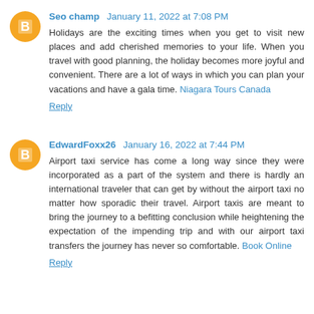Seo champ  January 11, 2022 at 7:08 PM
Holidays are the exciting times when you get to visit new places and add cherished memories to your life. When you travel with good planning, the holiday becomes more joyful and convenient. There are a lot of ways in which you can plan your vacations and have a gala time. Niagara Tours Canada
Reply
EdwardFoxx26  January 16, 2022 at 7:44 PM
Airport taxi service has come a long way since they were incorporated as a part of the system and there is hardly an international traveler that can get by without the airport taxi no matter how sporadic their travel. Airport taxis are meant to bring the journey to a befitting conclusion while heightening the expectation of the impending trip and with our airport taxi transfers the journey has never so comfortable. Book Online
Reply